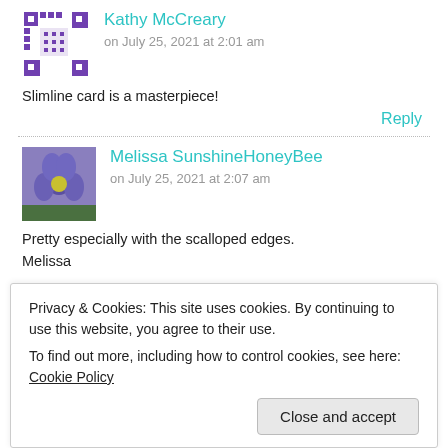Kathy McCreary
on July 25, 2021 at 2:01 am
Slimline card is a masterpiece!
Reply
Melissa SunshineHoneyBee
on July 25, 2021 at 2:07 am
Pretty especially with the scalloped edges.
Melissa
Privacy & Cookies: This site uses cookies. By continuing to use this website, you agree to their use.
To find out more, including how to control cookies, see here: Cookie Policy
Close and accept